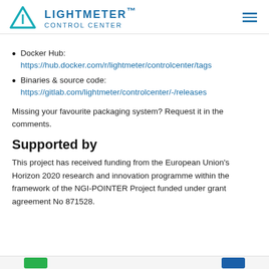LIGHTMETER™ CONTROL CENTER
Docker Hub: https://hub.docker.com/r/lightmeter/controlcenter/tags
Binaries & source code: https://gitlab.com/lightmeter/controlcenter/-/releases
Missing your favourite packaging system? Request it in the comments.
Supported by
This project has received funding from the European Union's Horizon 2020 research and innovation programme within the framework of the NGI-POINTER Project funded under grant agreement No 871528.